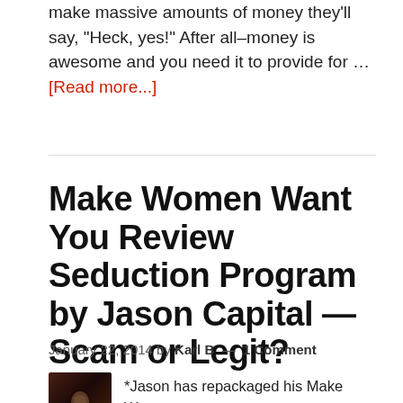make massive amounts of money they'll say, "Heck, yes!" After all–money is awesome and you need it to provide for … [Read more...]
Make Women Want You Review Seduction Program by Jason Capital — Scam or Legit?
January 22, 2014 by Karl B — 1 Comment
*Jason has repackaged his Make Women